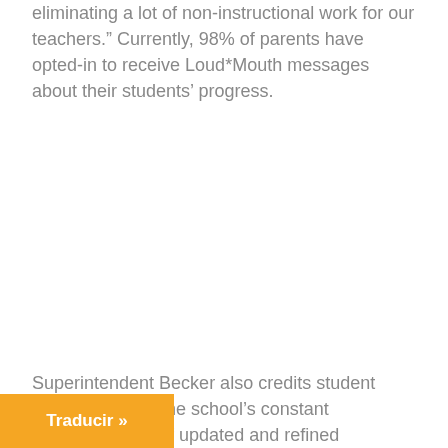eliminating a lot of non-instructional work for our teachers.” Currently, 98% of parents have opted-in to receive Loud*Mouth messages about their students’ progress.
Superintendent Becker also credits student improvement to the school’s constant …on of updated and refined
[Figure (screenshot): Orange 'Traducir »' translation button overlay at bottom-left of the page]